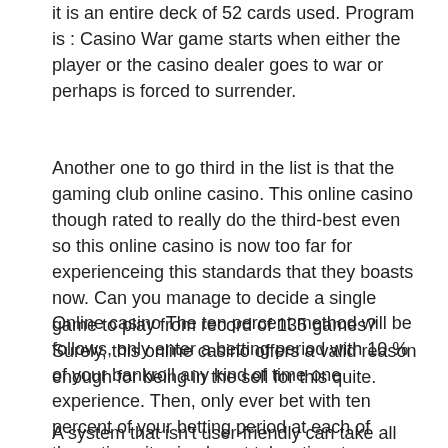it is an entire deck of 52 cards used. Program is : Casino War game starts when either the player or the casino dealer goes to war or perhaps is forced to surrender.
Another one to go third in the list is that the gaming club online casino. This online casino though rated to really do the third-best even so this online casino is now too far for experienceing this standards that they boasts now. Can you manage to decide a single game to play from record of 135 games? Surely, this online casino offers a valid reason enough for being in the sell for this quite.
Online casino The ten percent method will be follows, only enter a betting period with 10 % of your bankroll any kind of time one experience. Then, only ever bet with ten percent of your betting period at each of these time, its simple yet takes time to develop, this must wind up as habit, should you be to dollars.
A system that isn't user-friendly can take all the fun out for this